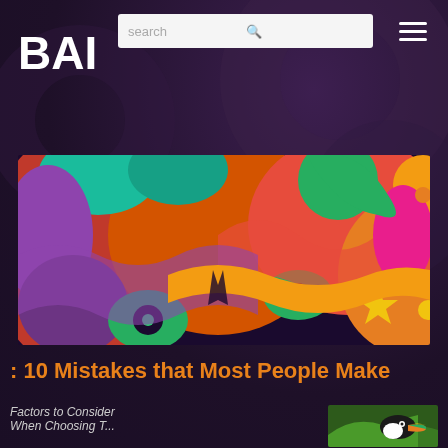BAI
search
[Figure (screenshot): Colorful abstract mural/artwork with bold shapes, eyes, stars and organic forms in vivid colors including red, orange, green, blue, purple, and yellow on a dark background]
: 10 Mistakes that Most People Make
Factors to Consider
When Choosing T...
[Figure (photo): Photo of a colorful bird (possibly a toucan or parrot) perched in tree branches]